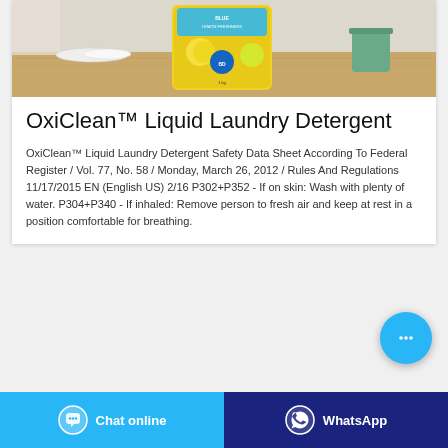[Figure (photo): Product photo of a yellow lemon-scented washing/laundry powder bag on a wooden table with white plates and a green cup in the background]
OxiClean™ Liquid Laundry Detergent
OxiClean™ Liquid Laundry Detergent Safety Data Sheet According To Federal Register / Vol. 77, No. 58 / Monday, March 26, 2012 / Rules And Regulations 11/17/2015 EN (English US) 2/16 P302+P352 - If on skin: Wash with plenty of water. P304+P340 - If inhaled: Remove person to fresh air and keep at rest in a position comfortable for breathing.
[Figure (other): Floating chat bubble button (light blue circle with ellipsis/three dots icon)]
[Figure (other): Bottom bar with two buttons: 'Chat online' (light blue, with speech bubble icon) and 'WhatsApp' (dark blue/navy, with WhatsApp phone icon)]